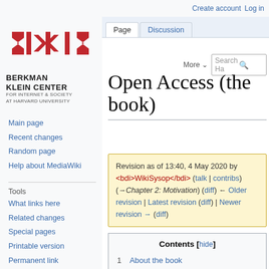Create account  Log in
[Figure (logo): Berkman Klein Center for Internet & Society at Harvard University logo — red geometric shapes with vertical bars and arrows]
Main page
Recent changes
Random page
Help about MediaWiki
Tools
What links here
Related changes
Special pages
Printable version
Permanent link
Page information
Open Access (the book)
Revision as of 13:40, 4 May 2020 by <bdi>WikiSysop</bdi> (talk | contribs) (→Chapter 2: Motivation) (diff) ← Older revision | Latest revision (diff) | Newer revision → (diff)
Contents [hide]
1 About the book
2 Reviews
3 Translations
4 About the updates and